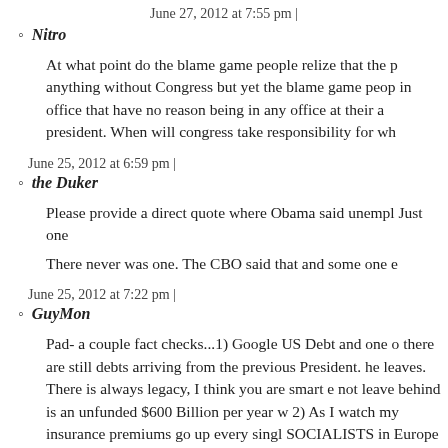June 27, 2012 at 7:55 pm |
Nitro
At what point do the blame game people relize that the p anything without Congress but yet the blame game peop in office that have no reason being in any office at their a president. When will congress take responsibility for wh
June 25, 2012 at 6:59 pm |
the Duker
Please provide a direct quote where Obama said unempl Just one
There never was one. The CBO said that and some one e
June 25, 2012 at 7:22 pm |
GuyMon
Pad- a couple fact checks...1) Google US Debt and one o there are still debts arriving from the previous President. he leaves. There is always legacy, I think you are smart e not leave behind is an unfunded $600 Billion per year w 2) As I watch my insurance premiums go up every singl SOCIALISTS in Europe are paying 1/2 to 1/3 what we a is b... is it NOT possible they done t it right to Wh